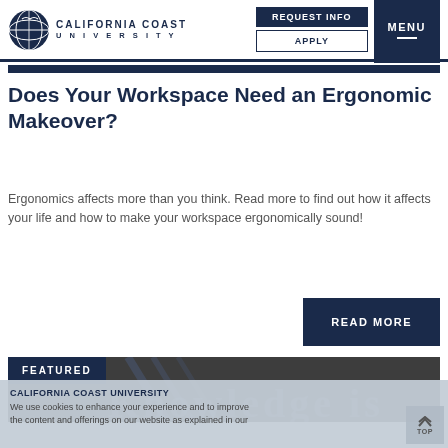California Coast University — REQUEST INFO | APPLY | MENU
Does Your Workspace Need an Ergonomic Makeover?
Ergonomics affects more than you think. Read more to find out how it affects your life and how to make your workspace ergonomically sound!
READ MORE
FEATURED
CALIFORNIA COAST UNIVERSITY
We use cookies to enhance your experience and to improve the content and offerings on our website as explained in our